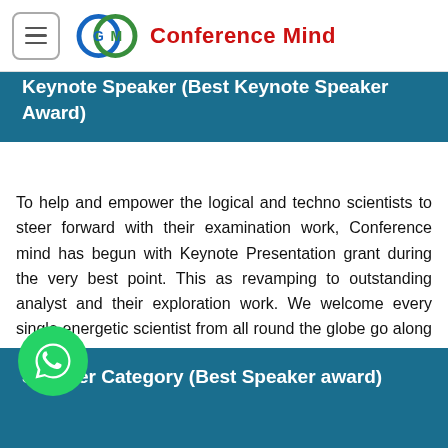[Figure (logo): Conference Mind logo with circular interlinked rings in blue and green, site title 'Conference Mind' in red bold text, with hamburger menu icon on the left]
Keynote Speaker (Best Keynote Speaker Award)
To help and empower the logical and techno scientists to steer forward with their examination work, Conference mind has begun with Keynote Presentation grant during the very best point. This as revamping to outstanding analyst and their exploration work. We welcome every single energetic scientist from all round the globe go along side us for the examination work.
Speaker Category (Best Speaker award)